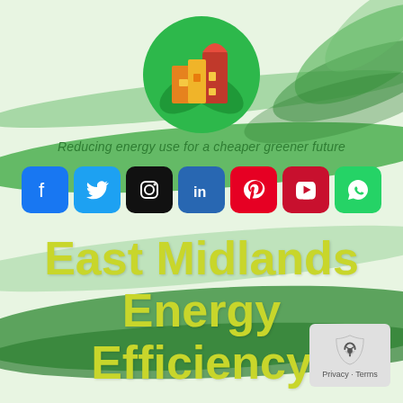[Figure (logo): East Midlands Energy Efficiency logo: green circle with stylized building icons in orange, yellow, and red]
Reducing energy use for a cheaper greener future
[Figure (infographic): Row of 7 social media icons: Facebook, Twitter, Instagram, LinkedIn, Pinterest, YouTube, WhatsApp]
East Midlands Energy Efficiency
[Figure (other): Google reCAPTCHA privacy badge with Privacy - Terms text]